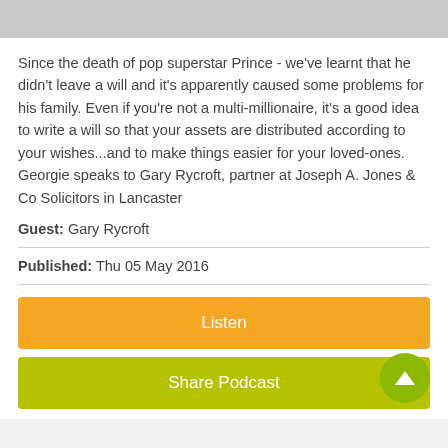[Figure (photo): Partial view of a black and white photo strip at the top of the page]
Since the death of pop superstar Prince - we've learnt that he didn't leave a will and it's apparently caused some problems for his family. Even if you're not a multi-millionaire, it's a good idea to write a will so that your assets are distributed according to your wishes...and to make things easier for your loved-ones. Georgie speaks to Gary Rycroft, partner at Joseph A. Jones & Co Solicitors in Lancaster
Guest: Gary Rycroft
Published: Thu 05 May 2016